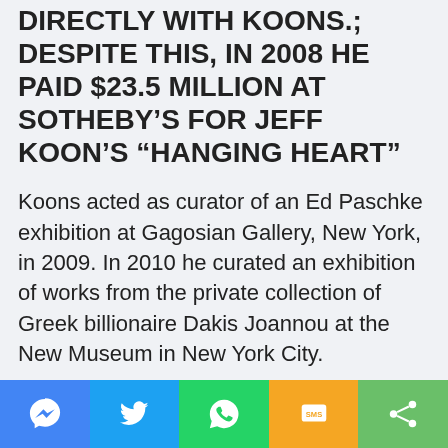DIRECTLY WITH KOONS.; DESPITE THIS, IN 2008 HE PAID $23.5 MILLION AT SOTHEBY'S FOR JEFF KOON'S “HANGING HEART”
Koons acted as curator of an Ed Paschke exhibition at Gagosian Gallery, New York, in 2009. In 2010 he curated an exhibition of works from the private collection of Greek billionaire Dakis Joannou at the New Museum in New York City.
The exhibition, Skin Fruit: Selections from the Dakis Joannou Collection, generated